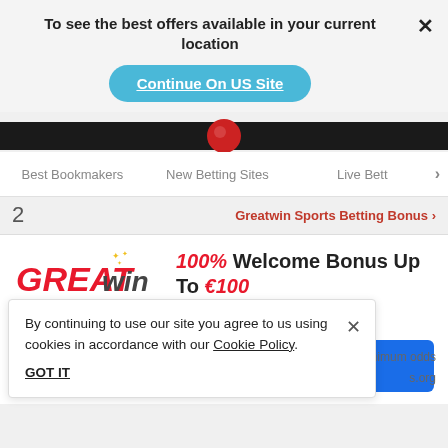To see the best offers available in your current location
Continue On US Site
Best Bookmakers   New Betting Sites   Live Betti >
2   Greatwin Sports Betting Bonus >
[Figure (logo): GREATwin logo in red and grey italic text with gold star decorations]
100% Welcome Bonus Up To €100
Established 2022
BET NOW (partially obscured)
By continuing to use our site you agree to us using cookies in accordance with our Cookie Policy.
GOT IT
ents and minimum odds s.org